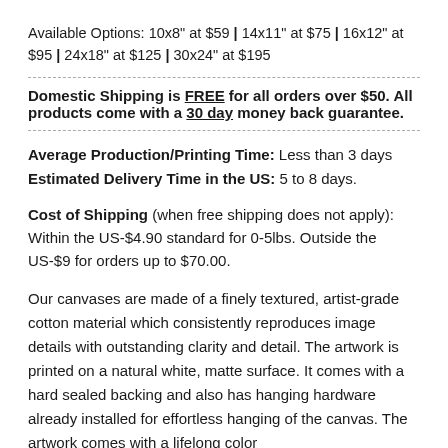Available Options: 10x8" at $59 | 14x11" at $75 | 16x12" at $95 | 24x18" at $125 | 30x24" at $195
Domestic Shipping is FREE for all orders over $50. All products come with a 30 day money back guarantee.
Average Production/Printing Time: Less than 3 days
Estimated Delivery Time in the US: 5 to 8 days.
Cost of Shipping (when free shipping does not apply): Within the US-$4.90 standard for 0-5lbs. Outside the US-$9 for orders up to $70.00.
Our canvases are made of a finely textured, artist-grade cotton material which consistently reproduces image details with outstanding clarity and detail. The artwork is printed on a natural white, matte surface. It comes with a hard sealed backing and also has hanging hardware already installed for effortless hanging of the canvas. The artwork comes with a lifelong color